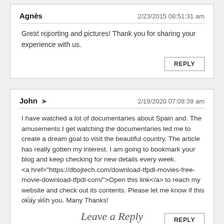Agnès	2/23/2015 08:51:31 am
Great reporting and pictures! Thank you for sharing your experience with us.
REPLY
John ➜	2/19/2020 07:08:39 am
I have watched a lot of documentaries about Spain and. The amusements I get watching the documentaries led me to create a dream goal to visit the beautiful country. The article has really gotten my interest. I am going to bookmark your blog and keep checking for new details every week.
<a href="https://dbojtech.com/download-tfpdl-movies-free-movie-download-tfpdl-com/">Open this link</a> to reach my website and check out its contents. Please let me know if this okay with you. Many Thanks!
REPLY
Leave a Reply